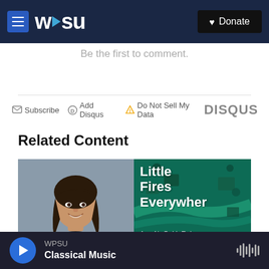WPSU | Donate
Be the first to comment.
Subscribe  Add Disqus  Do Not Sell My Data   DISQUS
Related Content
[Figure (photo): Photo of a woman with dark hair smiling, wearing a dark blazer]
[Figure (illustration): Book cover of 'Little Fires Everywhere: A Novel' with aerial view of a neighborhood in teal/green tones]
WPSU Classical Music